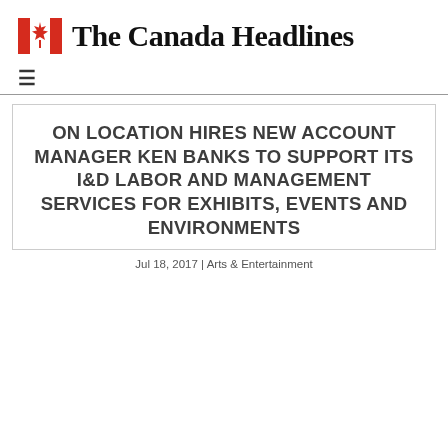The Canada Headlines
ON LOCATION HIRES NEW ACCOUNT MANAGER KEN BANKS TO SUPPORT ITS I&D LABOR AND MANAGEMENT SERVICES FOR EXHIBITS, EVENTS AND ENVIRONMENTS
Jul 18, 2017 | Arts & Entertainment